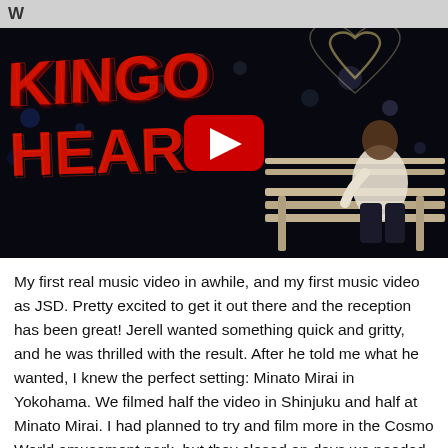W
[Figure (screenshot): YouTube video thumbnail showing a music video scene at night. On the left, red graffiti-style text reads 'KINGDOM HEARTS'. On the right, a person (Jerell/JSD) sits on a bench with bokeh city lights and a neon heart outline in the background. A large YouTube play button (red rounded rectangle with white triangle) is centered over the image.]
My first real music video in awhile, and my first music video as JSD. Pretty excited to get it out there and the reception has been great! Jerell wanted something quick and gritty, and he was thrilled with the result. After he told me what he wanted, I knew the perfect setting: Minato Mirai in Yokohama. We filmed half the video in Shinjuku and half at Minato Mirai. I had planned to try and film more in the Cosmo World amusement park, but they closed on days we needed to film and closed early the day